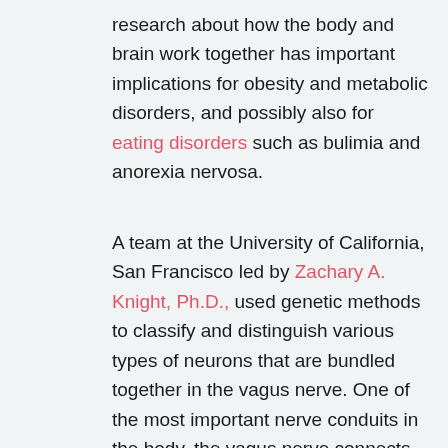research about how the body and brain work together has important implications for obesity and metabolic disorders, and possibly also for eating disorders such as bulimia and anorexia nervosa.
A team at the University of California, San Francisco led by Zachary A. Knight, Ph.D., used genetic methods to classify and distinguish various types of neurons that are bundled together in the vagus nerve. One of the most important nerve conduits in the body, the vagus nerve connects the brain with the stomach and intestines, and has long been known to play a central role in the process by which the body regulates feeding behaviors.